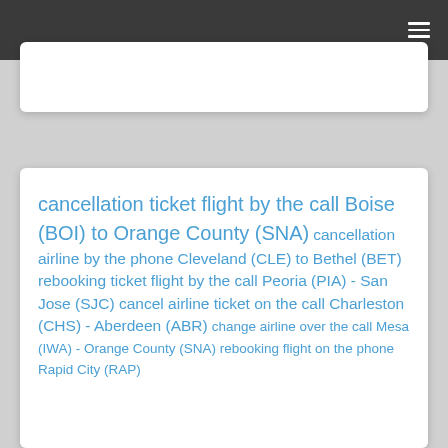≡
cancellation ticket flight by the call Boise (BOI) to Orange County (SNA) cancellation airline by the phone Cleveland (CLE) to Bethel (BET) rebooking ticket flight by the call Peoria (PIA) - San Jose (SJC) cancel airline ticket on the call Charleston (CHS) - Aberdeen (ABR) change airline over the call Mesa (IWA) - Orange County (SNA) rebooking flight on the phone Rapid City (RAP)